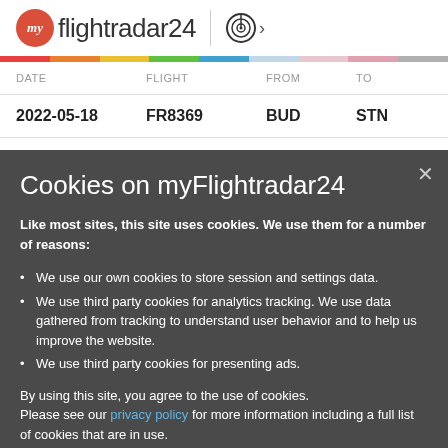myflightradar24
| DATE | FLIGHT | FROM | TO |
| --- | --- | --- | --- |
| 2022-05-18 | FR8369 | BUD | STN |
Cookies on myFlightradar24
Like most sites, this site uses cookies. We use them for a number of reasons:
We use our own cookies to store session and settings data.
We use third party cookies for analytics tracking. We use data gathered from tracking to understand user behavior and to help us improve the website.
We use third party cookies for presenting ads.
By using this site, you agree to the use of cookies. Please see our privacy policy for more information including a full list of cookies that are in use.